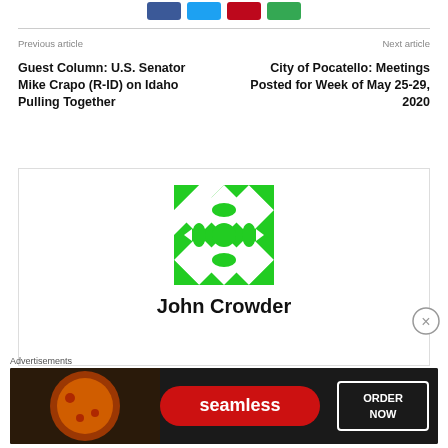[Figure (other): Social media share buttons: Facebook (blue), Twitter (cyan), Pinterest (red), Google/Other (green)]
Previous article
Next article
Guest Column: U.S. Senator Mike Crapo (R-ID) on Idaho Pulling Together
City of Pocatello: Meetings Posted for Week of May 25-29, 2020
[Figure (illustration): Green geometric mosaic avatar/placeholder image with diamond and arrow patterns]
John Crowder
Advertisements
[Figure (photo): Seamless food delivery advertisement showing pizza with ORDER NOW button]